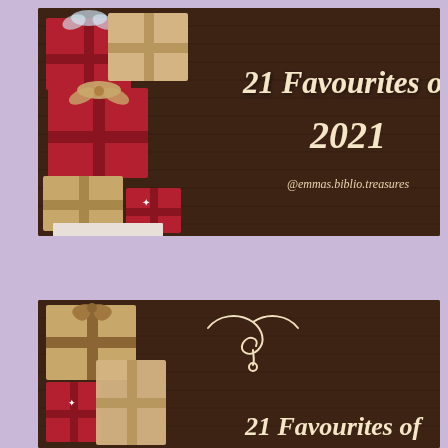[Figure (illustration): Top banner: dark wood background with wrapped Christmas gifts (red and kraft) on the left side, and decorative script text '21 Favourites of 2021' and '@emmas.biblio.treasures' on the right]
[Figure (illustration): Bottom banner (partially visible): dark wood background with wrapped Christmas gifts (kraft and red) on the left, a decorative swirl ornament at top center, and partially visible script text '21 Favourites of' at the bottom]